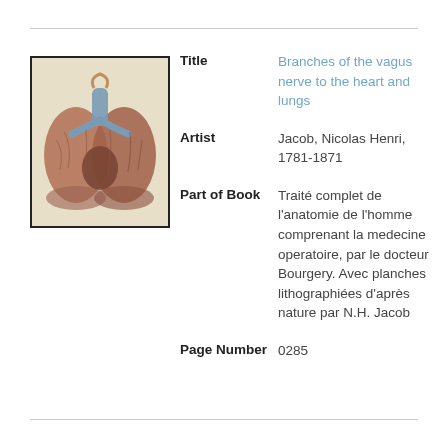[Figure (illustration): Anatomical illustration of branches of the vagus nerve to the heart and lungs, showing lungs and heart structures, colored lithograph.]
| Field | Value |
| --- | --- |
| Title | Branches of the vagus nerve to the heart and lungs |
| Artist | Jacob, Nicolas Henri, 1781-1871 |
| Part of Book | Traité complet de l'anatomie de l'homme comprenant la medecine operatoire, par le docteur Bourgery. Avec planches lithographiées d'après nature par N.H. Jacob |
| Page Number | 0285 |